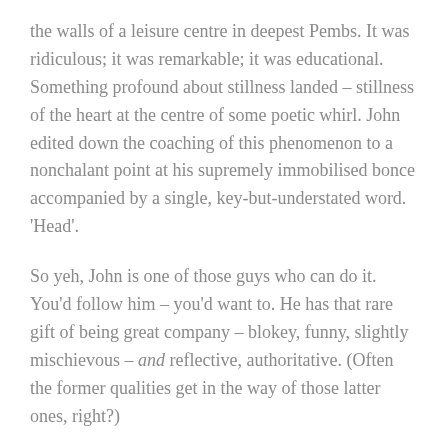the walls of a leisure centre in deepest Pembs. It was ridiculous; it was remarkable; it was educational. Something profound about stillness landed – stillness of the heart at the centre of some poetic whirl. John edited down the coaching of this phenomenon to a nonchalant point at his supremely immobilised bonce accompanied by a single, key-but-understated word. 'Head'.
So yeh, John is one of those guys who can do it. You'd follow him – you'd want to. He has that rare gift of being great company – blokey, funny, slightly mischievous – and reflective, authoritative. (Often the former qualities get in the way of those latter ones, right?)
Built strongly with powerful limbs and an, ance the